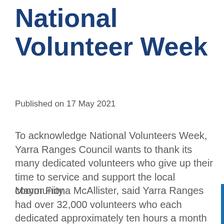National Volunteer Week
Published on 17 May 2021
To acknowledge National Volunteers Week, Yarra Ranges Council wants to thank its many dedicated volunteers who give up their time to service and support the local community.
Mayor Fiona McAllister, said Yarra Ranges had over 32,000 volunteers who each dedicated approximately ten hours a month to help deliver vital services to the community in areas like aged care, child care, arts and culture, youth services and the environment